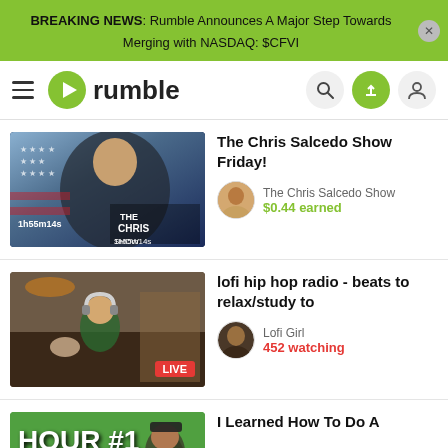BREAKING NEWS: Rumble Announces A Major Step Towards Merging with NASDAQ: $CFVI
[Figure (logo): Rumble logo with hamburger menu and navigation icons]
[Figure (photo): The Chris Salcedo Show Friday! thumbnail with man smiling in front of US flag, duration 1h55m14s]
The Chris Salcedo Show Friday!
The Chris Salcedo Show
$0.44 earned
[Figure (photo): lofi hip hop radio - beats to relax/study to thumbnail with anime girl wearing headphones, LIVE badge]
lofi hip hop radio - beats to relax/study to
Lofi Girl
452 watching
[Figure (photo): HOUR #1 thumbnail with person in Supreme hat]
I Learned How To Do A